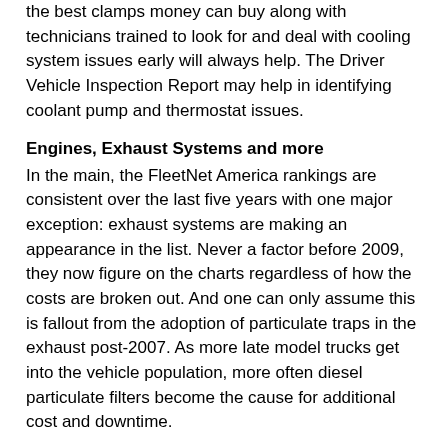the best clamps money can buy along with technicians trained to look for and deal with cooling system issues early will always help. The Driver Vehicle Inspection Report may help in identifying coolant pump and thermostat issues.
Engines, Exhaust Systems and more
In the main, the FleetNet America rankings are consistent over the last five years with one major exception: exhaust systems are making an appearance in the list. Never a factor before 2009, they now figure on the charts regardless of how the costs are broken out. And one can only assume this is fallout from the adoption of particulate traps in the exhaust post-2007. As more late model trucks get into the vehicle population, more often diesel particulate filters become the cause for additional cost and downtime.
There is no breakout for the exhaust by component issues but DPF active regeneration is a complex system. The increasing incidence of roadside problems may be just a driver training issue where the dashboard lights are confusing to the truck operator, or it may be that the systems are failing altogether.